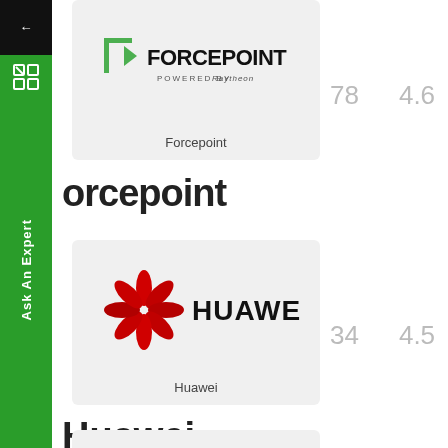[Figure (logo): Forcepoint logo card - green arrow icon with FORCEPOINT text and POWERED BY Raytheon subtext, label: Forcepoint]
78    4.6
Forcepoint
[Figure (logo): Huawei logo card - red flower icon with HUAWEI text, label: Huawei]
34    4.5
Huawei
[Figure (logo): Hillstage logo card - partial view of Hillstage italic blue text with TM mark]